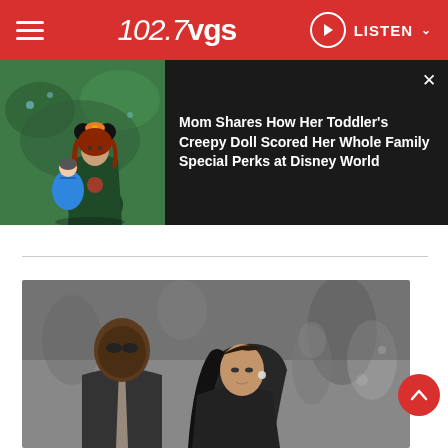102.7 VGS — LISTEN
[Figure (photo): Little girl with curly red hair wearing Minnie Mouse ears with orange bow, holding a baby doll dressed in a blue gown. Green garden background.]
Mom Shares How Her Toddler's Creepy Doll Scored Her Whole Family Special Perks at Disney World
[Figure (photo): Black and white photo of a man in a dark suit with tie and a woman in a strapless dress at what appears to be a red carpet event, with blurred crowd in background.]